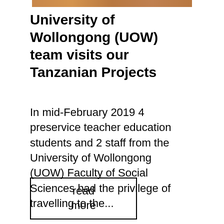[Figure (photo): Partial top strip of a photo showing a warm brownish-orange scene]
University of Wollongong (UOW) team visits our Tanzanian Projects
In mid-February 2019 4 preservice teacher education students and 2 staff from the University of Wollongong (UOW) Faculty of Social Sciences had the privilege of travelling to the...
read more